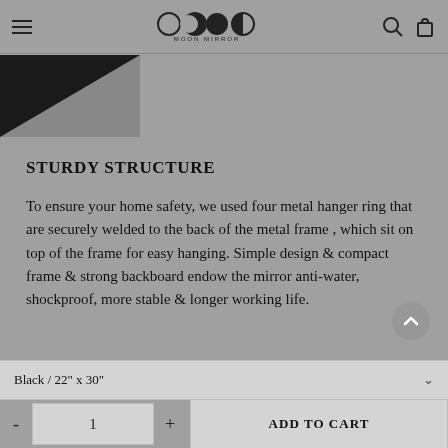Moon Mirror — navigation header with hamburger menu, logo, search and cart icons
[Figure (photo): Partial product image showing a corner of a black triangular/framed mirror against gray background]
STURDY STRUCTURE
To ensure your home safety, we used four metal hanger ring that are securely welded to the back of the metal frame , which sit on top of the frame for easy hanging. Simple design & compact frame & strong backboard endow the mirror anti-water, shockproof, more stable & longer working life.
Black / 22" x 30"
- 1 + ADD TO CART